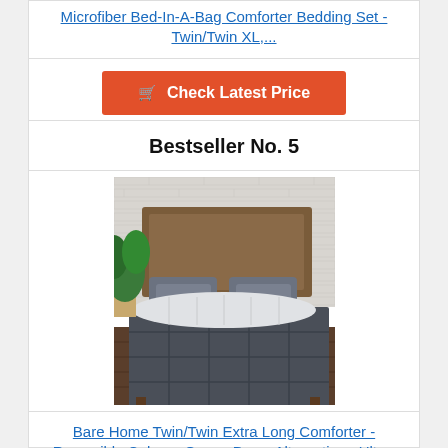Microfiber Bed-In-A-Bag Comforter Bedding Set - Twin/Twin XL,...
Check Latest Price
Bestseller No. 5
[Figure (photo): A gray and white reversible comforter set displayed on a wooden bed with a brick wall background and green plant]
Bare Home Twin/Twin Extra Long Comforter - Reversible Colors - Goose Down Alternative - Ultra-Soft -...